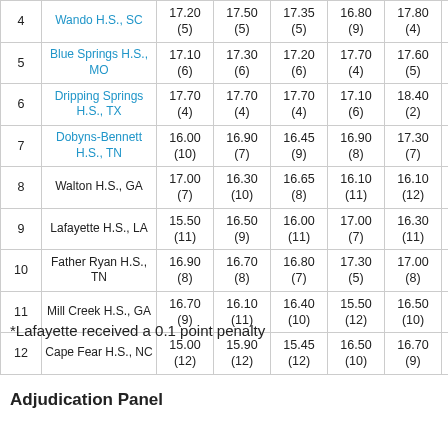|  | School | Col1 | Col2 | Col3 | Col4 | Col5 | Col6 |
| --- | --- | --- | --- | --- | --- | --- | --- |
| 4 | Wando H.S., SC | 17.20
(5) | 17.50
(5) | 17.35
(5) | 16.80
(9) | 17.80
(4) | 17... |
| 5 | Blue Springs H.S., MO | 17.10
(6) | 17.30
(6) | 17.20
(6) | 17.70
(4) | 17.60
(5) | 17... |
| 6 | Dripping Springs H.S., TX | 17.70
(4) | 17.70
(4) | 17.70
(4) | 17.10
(6) | 18.40
(2) | 17... |
| 7 | Dobyns-Bennett H.S., TN | 16.00
(10) | 16.90
(7) | 16.45
(9) | 16.90
(8) | 17.30
(7) | 17... |
| 8 | Walton H.S., GA | 17.00
(7) | 16.30
(10) | 16.65
(8) | 16.10
(11) | 16.10
(12) | 16... |
| 9 | Lafayette H.S., LA | 15.50
(11) | 16.50
(9) | 16.00
(11) | 17.00
(7) | 16.30
(11) | 16... |
| 10 | Father Ryan H.S., TN | 16.90
(8) | 16.70
(8) | 16.80
(7) | 17.30
(5) | 17.00
(8) | 17... |
| 11 | Mill Creek H.S., GA | 16.70
(9) | 16.10
(11) | 16.40
(10) | 15.50
(12) | 16.50
(10) | 16... |
| 12 | Cape Fear H.S., NC | 15.00
(12) | 15.90
(12) | 15.45
(12) | 16.50
(10) | 16.70
(9) | 16... |
*Lafayette received a 0.1 point penalty
Adjudication Panel